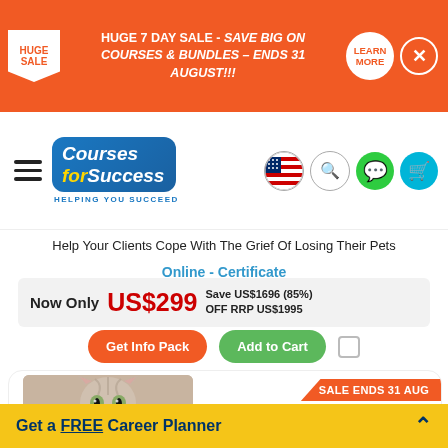HUGE 7 DAY SALE - SAVE BIG ON COURSES & BUNDLES – ENDS 31 AUGUST!!!
[Figure (logo): Courses for Success logo with tagline HELPING YOU SUCCEED]
Help Your Clients Cope With The Grief Of Losing Their Pets
Online - Certificate
Now Only US$299 Save US$1696 (85%) OFF RRP US$1995
Get Info Pack | Add to Cart
[Figure (photo): Kitten looking up at camera with SALE ENDS 31 AUG ribbon]
Get a FREE Career Planner